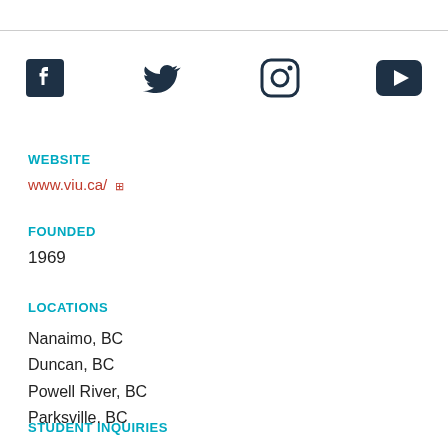[Figure (other): Social media icons row: Facebook, Twitter, Instagram, YouTube]
WEBSITE
www.viu.ca/
FOUNDED
1969
LOCATIONS
Nanaimo, BC
Duncan, BC
Powell River, BC
Parksville, BC
STUDENT INQUIRIES